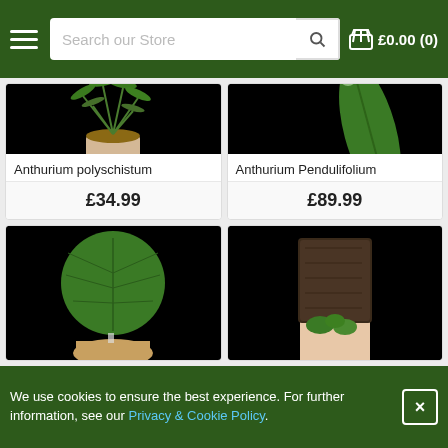Search our Store  £0.00 (0)
[Figure (photo): Anthurium polyschistum plant with finger-like leaves in a small white pot against black background]
Anthurium polyschistum
£34.99
[Figure (photo): Anthurium Pendulifolium single large elongated leaf against black background]
Anthurium Pendulifolium
£89.99
[Figure (photo): Round-leafed anthurium plant with visible veins on sandy substrate against black background]
[Figure (photo): Small green plant held in hand showing dark soil/bark substrate against black background]
We use cookies to ensure the best experience. For further information, see our Privacy & Cookie Policy.